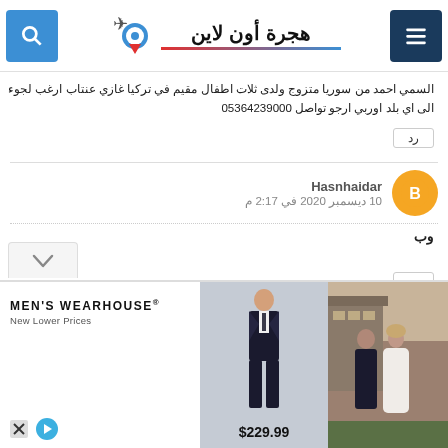هجرة أون لاين
السمي احمد من سوريا متزوج ولدى ثلاث اطفال مقيم في تركيا غازي عنتاب ارغب لجوء الى اي بلد اوربي ارجو تواصل 05364239000
رد
Hasnhaidar
10 ديسمبر 2020 في 2:17 م
وب
رد
Hasnhaidar
10 ديسمبر 2020 في 2:17 م
وب
[Figure (photo): Advertisement for Men's Wearhouse showing a suit for $229.99 and a couple in formal wear]